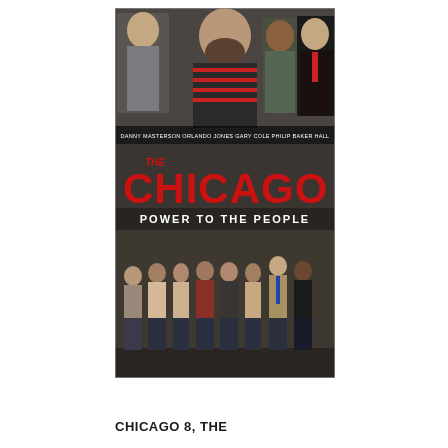[Figure (photo): Movie poster for 'The Chicago 8' subtitled 'Power to the People'. Top half shows four actors in close-up (Danny Masterson, Orlando Jones, Gary Cole, Philip Baker Hall). Large red distressed text reads 'CHICAGO 8' with smaller 'THE' above. Below the title reads 'POWER TO THE PEOPLE' in white block letters. Bottom half shows eight people standing in a line against a grey wall.]
CHICAGO 8, THE